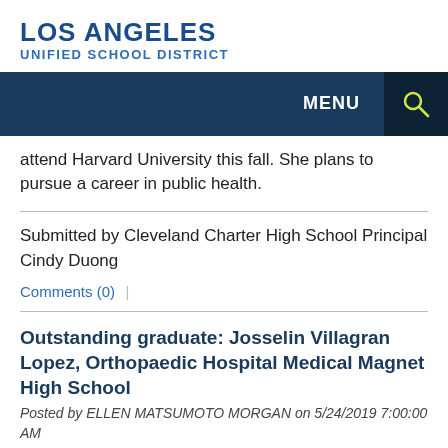LOS ANGELES
UNIFIED SCHOOL DISTRICT
attend Harvard University this fall. She plans to pursue a career in public health.
Submitted by Cleveland Charter High School Principal Cindy Duong
Comments (0)
Outstanding graduate: Josselin Villagran Lopez, Orthopaedic Hospital Medical Magnet High School
Posted by ELLEN MATSUMOTO MORGAN on 5/24/2019 7:00:00 AM
Silent No Longer: Cl...